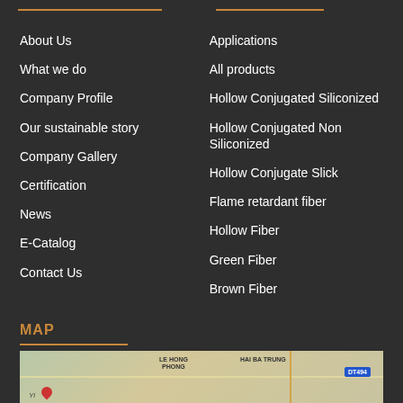About Us
What we do
Company Profile
Our sustainable story
Company Gallery
Certification
News
E-Catalog
Contact Us
Applications
All products
Hollow Conjugated Siliconized
Hollow Conjugated Non Siliconized
Hollow Conjugate Slick
Flame retardant fiber
Hollow Fiber
Green Fiber
Brown Fiber
MAP
[Figure (map): Street map showing LE HONG PHONG and HAI BA TRUNG areas with road DT494]